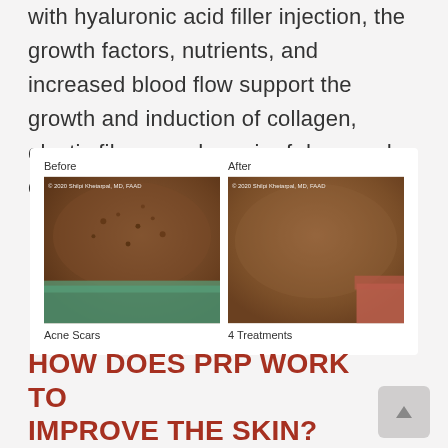with hyaluronic acid filler injection, the growth factors, nutrients, and increased blood flow support the growth and induction of collagen, elastic fibers, and repair of damaged cells.
[Figure (photo): Before and after comparison photos showing acne scars treatment with PRP. Left photo labeled 'Before' shows acne scars, right photo labeled 'After' shows improvement after 4 treatments. Both photos watermarked '© 2020 Shilpi Khetarpal, MD, FAAD'.]
Acne Scars    4 Treatments
HOW DOES PRP WORK TO IMPROVE THE SKIN?